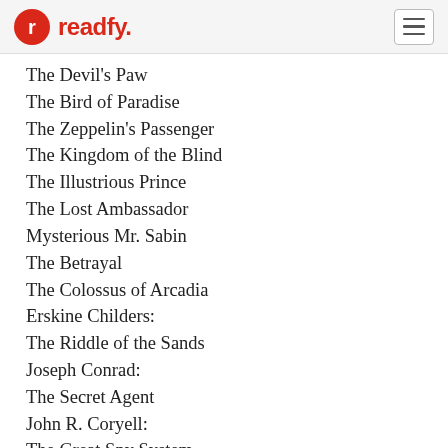readfy.
The Devil's Paw
The Bird of Paradise
The Zeppelin's Passenger
The Kingdom of the Blind
The Illustrious Prince
The Lost Ambassador
Mysterious Mr. Sabin
The Betrayal
The Colossus of Arcadia
Erskine Childers:
The Riddle of the Sands
Joseph Conrad:
The Secret Agent
John R. Coryell:
The Great Spy System
William Le Queux:
The Great War in England in 1897